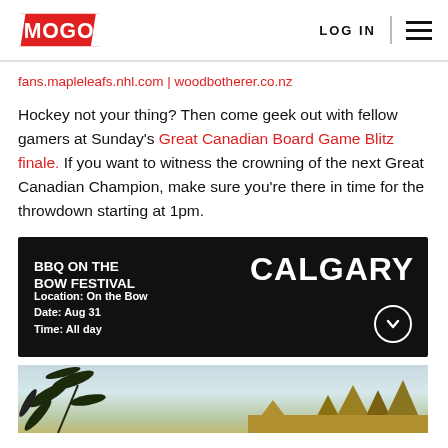MOGO | LOG IN
fans.mapleleafs.nhl.com | woodbotherer.co.nz
Hockey not your thing? Then come geek out with fellow gamers at Sunday's Great Canadian Board Game Blitz finale. If you want to witness the crowning of the next Great Canadian Champion, make sure you're there in time for the throwdown starting at 1pm.
[Figure (infographic): Black card with 'CALGARY' heading on right, event title 'BBQ ON THE BOW FESTIVAL', location: On the Bow, Date: Aug 31, Time: All day, with a circular down arrow icon]
[Figure (photo): Partial outdoor photo showing plant leaves on the left and trees/shrubs on the right against a light sky]